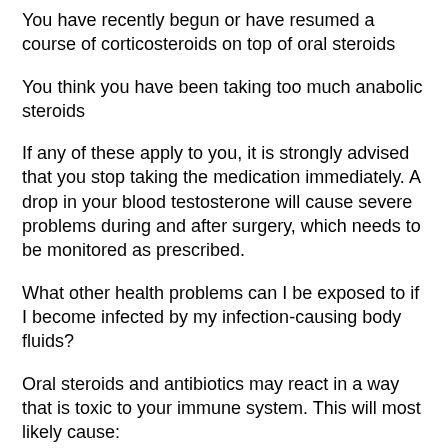You have recently begun or have resumed a course of corticosteroids on top of oral steroids
You think you have been taking too much anabolic steroids
If any of these apply to you, it is strongly advised that you stop taking the medication immediately. A drop in your blood testosterone will cause severe problems during and after surgery, which needs to be monitored as prescribed.
What other health problems can I be exposed to if I become infected by my infection-causing body fluids?
Oral steroids and antibiotics may react in a way that is toxic to your immune system. This will most likely cause: